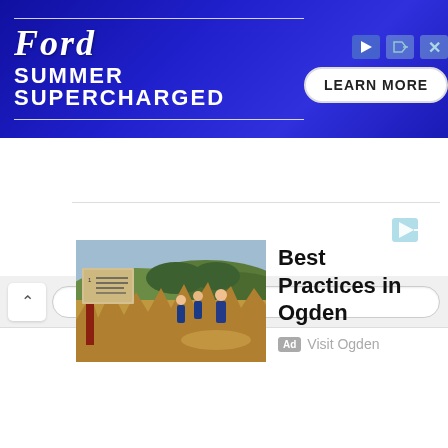[Figure (screenshot): Ford Summer Supercharged banner advertisement with dark blue background, Ford script logo, horizontal lines, 'SUMMER SUPERCHARGED' text, and a 'LEARN MORE' button on the right]
[Figure (screenshot): Browser navigation strip with back button (chevron up) and address bar]
[Figure (photo): Outdoor trail scene with hikers walking through dry grassland with mountains in background, and a signpost on the left side]
Best Practices in Ogden
Ad  Visit Ogden